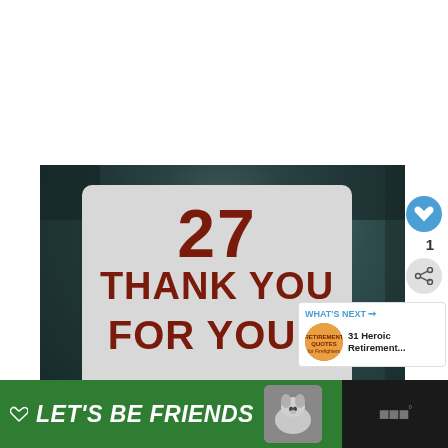[Figure (photo): A decorative sign with dark teal/bokeh background showing the number 27 and text 'THANK YOU FOR YOUR' in large dark red bold font on a white rounded-rectangle sign. Overlaid with social media UI elements: a blue heart button with count '1', a share button, a 'WHAT'S NEXT' panel showing '31 Heroic Retirement...' with a thumbnail. Bottom shows a green 'LET'S BE FRIENDS' banner with a husky dog image and a close button.]